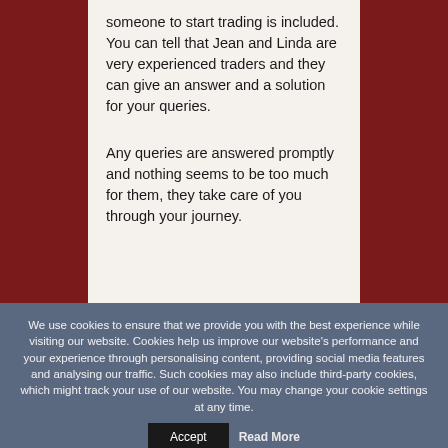someone to start trading is included. You can tell that Jean and Linda are very experienced traders and they can give an answer and a solution for your queries.
Any queries are answered promptly and nothing seems to be too much for them, they take care of you through your journey.
We use cookies to ensure that we provide you with the best experience while visiting our website. Cookies help us improve our website's performance and your experience through personalising content, providing social media features and analysing our traffic. Such cookies may also include third-party cookies, which might track your use of our website. You may change your cookie settings at any time.